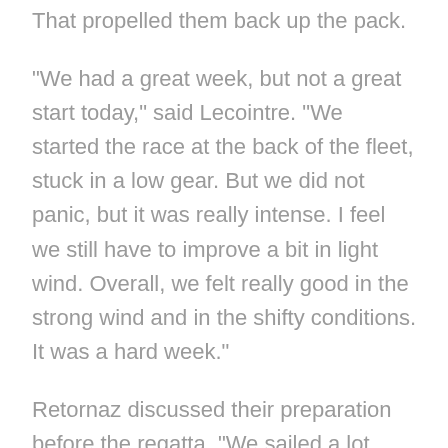That propelled them back up the pack.
"We had a great week, but not a great start today," said Lecointre. "We started the race at the back of the fleet, stuck in a low gear. But we did not panic, but it was really intense. I feel we still have to improve a bit in light wind. Overall, we felt really good in the strong wind and in the shifty conditions. It was a hard week."
Retornaz discussed their preparation before the regatta. "We sailed a lot outside in front of Key Biscayne to enjoy the waves, because it's good practice for Japan where there will be a lot of